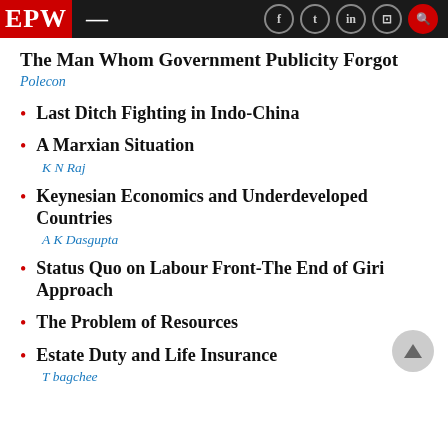EPW
The Man Whom Government Publicity Forgot
Last Ditch Fighting in Indo-China
A Marxian Situation
Keynesian Economics and Underdeveloped Countries
Status Quo on Labour Front-The End of Giri Approach
The Problem of Resources
Estate Duty and Life Insurance